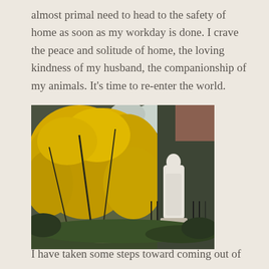almost primal need to head to the safety of home as soon as my workday is done. I crave the peace and solitude of home, the loving kindness of my husband, the companionship of my animals. It's time to re-enter the world.
[Figure (photo): A garden scene with a bright yellow forsythia bush in full bloom on the left, and a white classical-style garden statue of a figure on the right, surrounded by trees and greenery.]
I have taken some steps toward coming out of my cocoon.